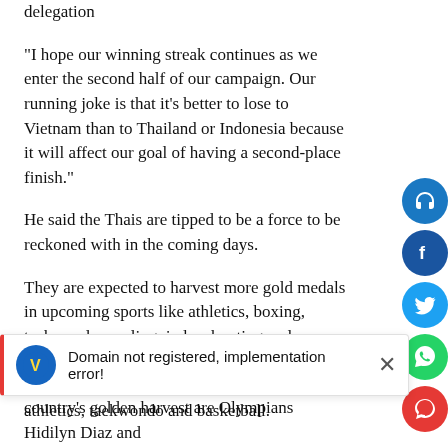delegation
“I hope our winning streak continues as we enter the second half of our campaign. Our running joke is that it’s better to lose to Vietnam than to Thailand or Indonesia because it will affect our goal of having a second-place finish.”
He said the Thais are tipped to be a force to be reckoned with in the coming days.
They are expected to harvest more gold medals in upcoming sports like athletics, boxing, taekwondo, cycling, judo, shooting and archery while the Filipinos are tipped to win a handful more from weightlifting, billiards, athletics, taekwondo and basketball.
Domain not registered, implementation error!
country’s golden harvest are Olympians Hidilyn Diaz and Elreen Ando of weightlifting, Eumir Marcial, Nesthy